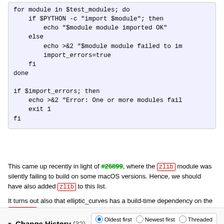[Figure (screenshot): Code block showing a shell script snippet with a for loop checking Python module imports and an if statement handling import errors.]
This came up recently in light of #26899, where the zlib module was silently failing to build on some macOS versions. Hence, we should have also added zlib to this list.
It turns out also that elliptic_curves has a build-time dependency on the sqlite3 module being built properly, so we should add it as well.
Also ssl should be added, but we reserve this for a follow-up ticket that addresses the whole openssl mess on macOS.
Change History (32)
Oldest first  Newest first  Threaded  Show property changes